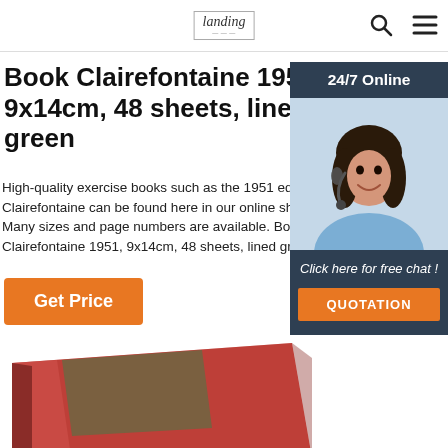Larding [logo] | Search | Menu
Book Clairefontaine 1951, 9x14cm, 48 sheets, lined green
High-quality exercise books such as the 1951 edition Clairefontaine can be found here in our online shop. Many sizes and page numbers are available. Booklet Clairefontaine 1951, 9x14cm, 48 sheets, lined green
Get Price
[Figure (screenshot): Customer support widget with '24/7 Online' header, photo of woman with headset, 'Click here for free chat!' text, and 'QUOTATION' button]
[Figure (photo): Red/coral colored Clairefontaine exercise book with a brown/tan stripe across the cover, shown at an angle]